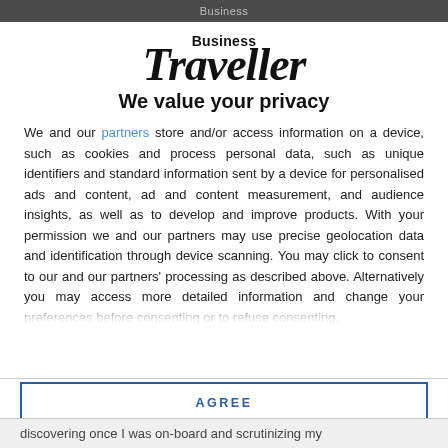Business Traveller
[Figure (logo): Business Traveller magazine logo — 'Business' in small bold text above 'Traveller' in large bold italic serif text]
We value your privacy
We and our partners store and/or access information on a device, such as cookies and process personal data, such as unique identifiers and standard information sent by a device for personalised ads and content, ad and content measurement, and audience insights, as well as to develop and improve products. With your permission we and our partners may use precise geolocation data and identification through device scanning. You may click to consent to our and our partners' processing as described above. Alternatively you may access more detailed information and change your preferences before consenting or to refuse consenting.
AGREE
MORE OPTIONS
discovering once I was on-board and scrutinizing my